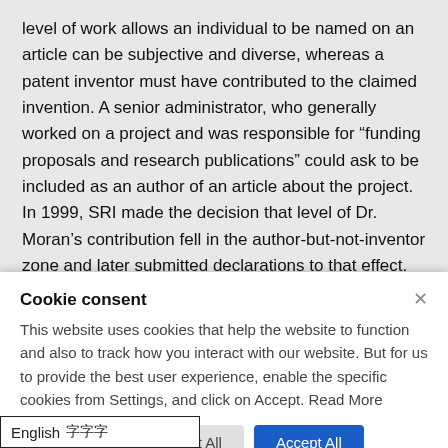level of work allows an individual to be named on an article can be subjective and diverse, whereas a patent inventor must have contributed to the claimed invention. A senior administrator, who generally worked on a project and was responsible for “funding proposals and research publications” could ask to be included as an author of an article about the project. In 1999, SRI made the decision that level of Dr. Moran’s contribution fell in the author-but-not-inventor zone and later submitted declarations to that effect. SRI might have chosen, instead, to remove the issue of the
Cookie consent
This website uses cookies that help the website to function and also to track how you interact with our website. But for us to provide the best user experience, enable the specific cookies from Settings, and click on Accept. Read More
Preferences ∨   Reject All   Accept All
English 字字字